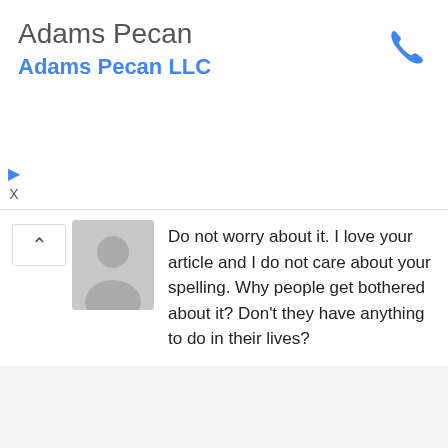Adams Pecan
Adams Pecan LLC
Do not worry about it. I love your article and I do not care about your spelling. Why people get bothered about it? Don't they have anything to do in their lives?
bill   March 24, 2011 7:29 pm
Nice article thanks
locksmiths basingstoke   June 17, 2011 7:28 am
You've done quite a bit of research prior to